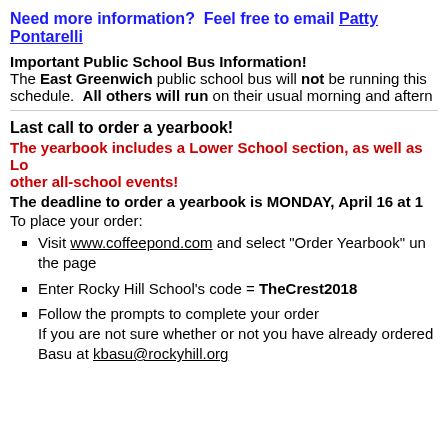Need more information?  Feel free to email Patty Pontarelli
Important Public School Bus Information! The East Greenwich public school bus will not be running this schedule.  All others will run on their usual morning and afternoon schedule.
Last call to order a yearbook!
The yearbook includes a Lower School section, as well as Lower School sports, musicals, and other all-school events!
The deadline to order a yearbook is MONDAY, April 16 at 1
To place your order:
Visit www.coffeepond.com and select "Order Yearbook" under the page
Enter Rocky Hill School's code = TheCrest2018
Follow the prompts to complete your order If you are not sure whether or not you have already ordered, Basu at kbasu@rockyhill.org